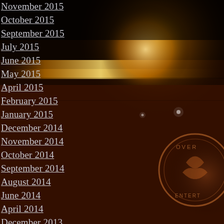[Figure (illustration): Dark reddish-brown atmospheric background with warm orange and golden horizontal light streak in upper portion, resembling a sunset or dust storm landscape. A partially visible circular logo/emblem appears in the lower right corner.]
November 2015
October 2015
September 2015
July 2015
June 2015
May 2015
April 2015
February 2015
January 2015
December 2014
November 2014
October 2014
September 2014
August 2014
June 2014
April 2014
December 2013
November 2013
September 2013